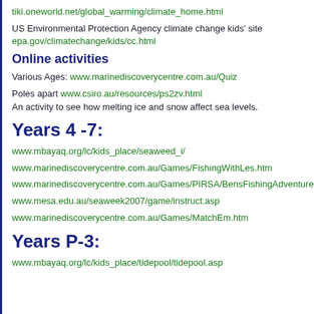tiki.oneworld.net/global_warming/climate_home.html
US Environmental Protection Agency climate change kids' site
epa.gov/climatechange/kids/cc.html
Online activities
Various Ages: www.marinediscoverycentre.com.au/Quiz
Poles apart www.csiro.au/resources/ps2zv.html
An activity to see how melting ice and snow affect sea levels.
Years 4 -7:
www.mbayaq.org/lc/kids_place/seaweed_i/
www.marinediscoverycentre.com.au/Games/FishingWithLes.htm
www.marinediscoverycentre.com.au/Games/PIRSA/BensFishingAdventures.htm
www.mesa.edu.au/seaweek2007/game/instruct.asp
www.marinediscoverycentre.com.au/Games/MatchEm.htm
Years P-3:
www.mbayaq.org/lc/kids_place/tidepool/tidepool.asp